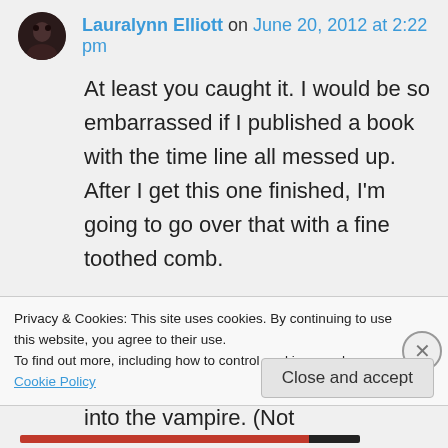Lauralynn Elliott on June 20, 2012 at 2:22 pm
At least you caught it. I would be so embarrassed if I published a book with the time line all messed up. After I get this one finished, I'm going to go over that with a fine toothed comb.

Actually, I did something similar. Her friend had a date later, so she was restless and took a walk, running into the vampire. (Not
Privacy & Cookies: This site uses cookies. By continuing to use this website, you agree to their use.
To find out more, including how to control cookies, see here: Cookie Policy
Close and accept